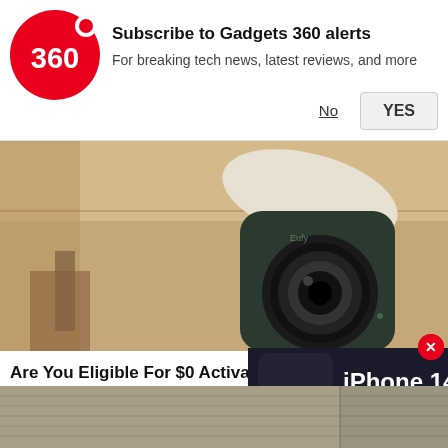[Figure (logo): Gadgets 360 red circle logo with '360' text]
Subscribe to Gadgets 360 alerts
For breaking tech news, latest reviews, and more
No
YES
[Figure (photo): Close-up of a dark green Eufy security camera mounted on ceiling, brown/beige background]
Are You Eligible For $0 Activation Sm Now
Vivint | Sponsored
[Figure (screenshot): iPhone 14 video thumbnail with play button, text reads: iPhone 14, RUMOUR ROUNDUP]
[Figure (photo): Partial view of stacked lumber/brick wall at bottom of page]